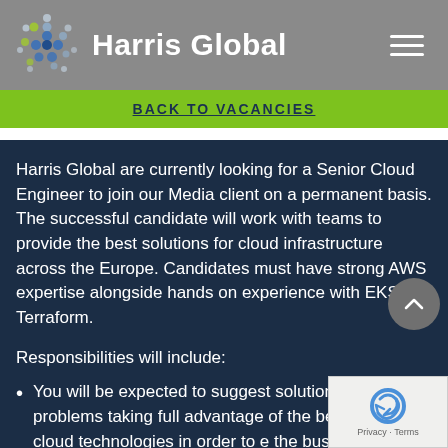Harris Global
BACK TO VACANCIES
Harris Global are currently looking for a Senior Cloud Engineer to join our Media client on a permanent basis. The successful candidate will work with teams to provide the best solutions for cloud infrastructure across the Europe. Candidates must have strong AWS expertise alongside hands on experience with EKS and Terraform.
Responsibilities will include:
You will be expected to suggest solutions to problems taking full advantage of the best of latest cloud technologies in order to enable the business to increase its pace of delivery.